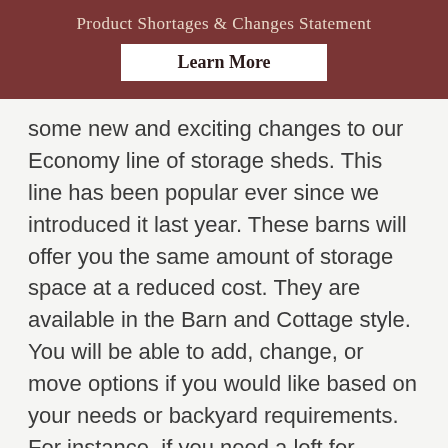Product Shortages & Changes Statement
Learn More
some new and exciting changes to our Economy line of storage sheds. This line has been popular ever since we introduced it last year. These barns will offer you the same amount of storage space at a reduced cost. They are available in the Barn and Cottage style. You will be able to add, change, or move options if you would like based on your needs or backyard requirements. For instance, if you need a loft for additional storage or reinforced flooring, we can add these options to better suit your needs. On the taller sided buildings, you have the option of placing your doors in the side of the structure.